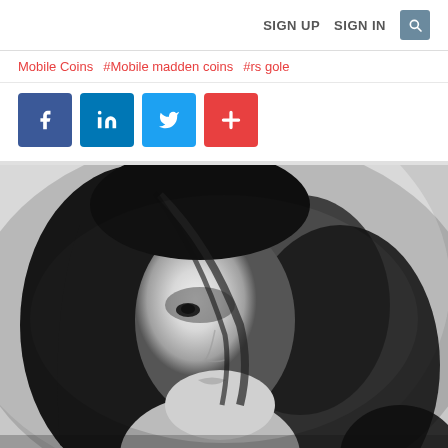SIGN UP  SIGN IN  [search]
Mobile Coins  #Mobile madden coins  #rs gole
[Figure (other): Social media share buttons: Facebook, LinkedIn, Twitter, and a plus/share button]
[Figure (photo): Black and white close-up portrait photo of a young woman with dark shoulder-length hair, partially shadowed face, looking slightly to the side]